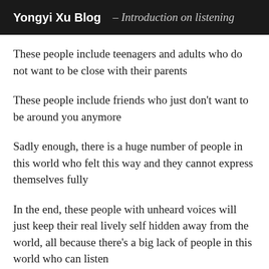Yongyi Xu Blog – Introduction on listening
These people include teenagers and adults who do not want to be close with their parents
These people include friends who just don't want to be around you anymore
Sadly enough, there is a huge number of people in this world who felt this way and they cannot express themselves fully
In the end, these people with unheard voices will just keep their real lively self hidden away from the world, all because there's a big lack of people in this world who can listen